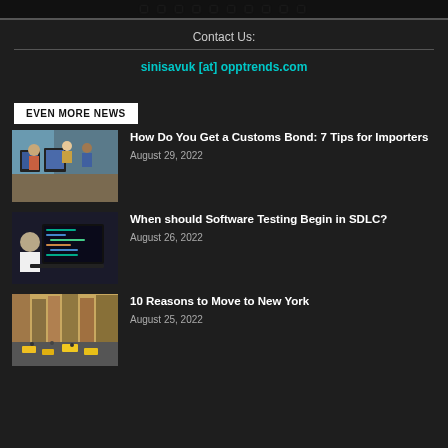Contact Us:
sinisavuk [at] opptrends.com
EVEN MORE NEWS
[Figure (photo): People working at desks with computers in an office setting]
How Do You Get a Customs Bond: 7 Tips for Importers
August 29, 2022
[Figure (photo): Person working on a laptop with code on screen]
When should Software Testing Begin in SDLC?
August 26, 2022
[Figure (photo): Aerial view of busy New York city street]
10 Reasons to Move to New York
August 25, 2022